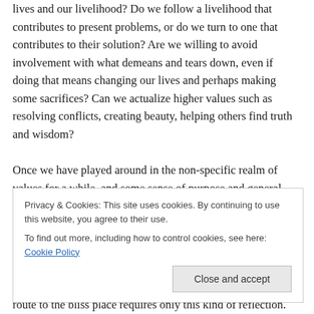lives and our livelihood? Do we follow a livelihood that contributes to present problems, or do we turn to one that contributes to their solution? Are we willing to avoid involvement with what demeans and tears down, even if doing that means changing our lives and perhaps making some sacrifices? Can we actualize higher values such as resolving conflicts, creating beauty, helping others find truth and wisdom?
Once we have played around in the non-specific realm of values for a while, and some sense of purpose and general direction has begun to form, the next step is to
Privacy & Cookies: This site uses cookies. By continuing to use this website, you agree to their use.
To find out more, including how to control cookies, see here: Cookie Policy
route to the bliss place requires only this kind of reflection.